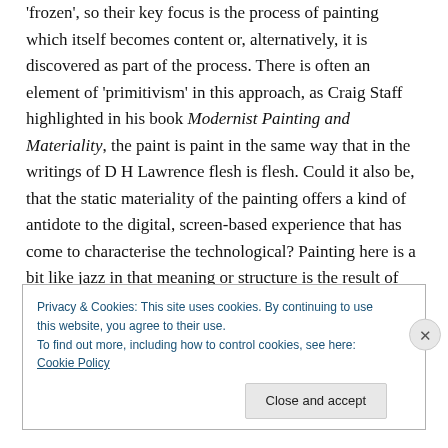'frozen', so their key focus is the process of painting which itself becomes content or, alternatively, it is discovered as part of the process. There is often an element of 'primitivism' in this approach, as Craig Staff highlighted in his book Modernist Painting and Materiality, the paint is paint in the same way that in the writings of D H Lawrence flesh is flesh. Could it also be, that the static materiality of the painting offers a kind of antidote to the digital, screen-based experience that has come to characterise the technological? Painting here is a bit like jazz in that meaning or structure is the result of improvisation. Jazz
Privacy & Cookies: This site uses cookies. By continuing to use this website, you agree to their use.
To find out more, including how to control cookies, see here: Cookie Policy